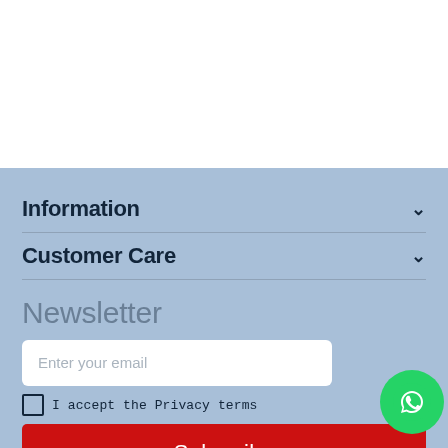Information
Customer Care
Newsletter
Enter your email
I accept the Privacy terms
Subscribe
[Figure (illustration): WhatsApp floating button (green circle with phone handset icon)]